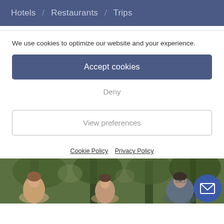Hotels / Restaurants / Trips
We use cookies to optimize our website and your experience.
Accept cookies
Deny
View preferences
Cookie Policy  Privacy Policy
[Figure (photo): Group of three people outdoors among trees, with a blue circular email/chat button in the bottom right corner]